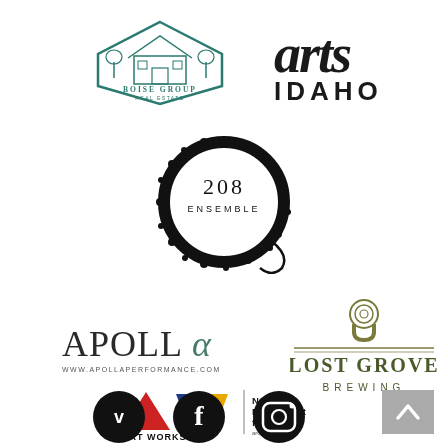[Figure (logo): Boise Group Real Estate logo — teal hexagon outline with house and trees illustration, text 'BOISE GROUP REAL ESTATE' below]
[Figure (logo): Arts Idaho logo — 'arts' in large serif italic lowercase and 'IDAHO' in bold sans-serif caps below]
[Figure (logo): 208 Ensemble logo — circular black ornamental ring with '208 ENSEMBLE' text in center]
[Figure (logo): Apollo Performance logo — 'APOLLOA' (alpha symbol) with 'WWW.APOLLAPERFORMANCE.COM' in small caps below]
[Figure (logo): Lost Grove Brewing logo — fingerprint icon above horseshoe/U, horizontal rules, 'LOST GROVE BREWING' in olive/gold serif caps]
[Figure (logo): National Endowment for the Arts / ART WORKS. logo — red triangle, blue inverted triangle, yellow inverted triangle with 'ART WORKS.' text and NEA text block]
[Figure (logo): Back to top button — gray square with white chevron/caret up arrow]
[Figure (logo): Social media icons — Vimeo, Facebook, Instagram in black circles]